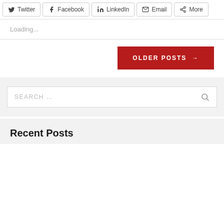[Figure (screenshot): Social share buttons row: Twitter, Facebook, LinkedIn, Email, More]
Loading...
[Figure (infographic): OLDER POSTS → red button]
[Figure (screenshot): Search box with magnifying glass icon inside gray sidebar area]
Recent Posts